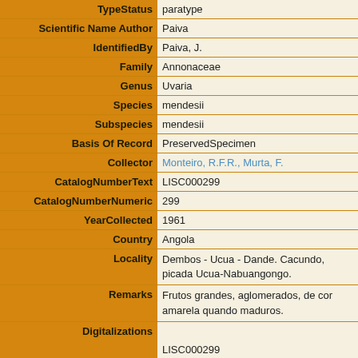| Field | Value |
| --- | --- |
| TypeStatus | paratype |
| Scientific Name Author | Paiva |
| IdentifiedBy | Paiva, J. |
| Family | Annonaceae |
| Genus | Uvaria |
| Species | mendesii |
| Subspecies | mendesii |
| Basis Of Record | PreservedSpecimen |
| Collector | Monteiro, R.F.R., Murta, F. |
| CatalogNumberText | LISC000299 |
| CatalogNumberNumeric | 299 |
| YearCollected | 1961 |
| Country | Angola |
| Locality | Dembos - Ucua - Dande. Cacundo, picada Ucua-Nabuangongo. |
| Remarks | Frutos grandes, aglomerados, de cor amarela quando maduros. |
| Digitalizations | LISC000299
30.7 x 43.5 cm, 600 DPI
2005-08-22 15:52:31
Main |